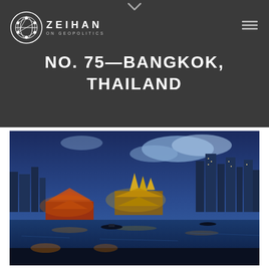Zeihan on Geopolitics
NO. 75—BANGKOK, THAILAND
[Figure (photo): Aerial night/dusk panoramic photo of Bangkok, Thailand skyline with the Chao Phraya river in the foreground, illuminated temples and golden spires in the middle ground, and modern skyscrapers in the background under a blue twilight sky.]